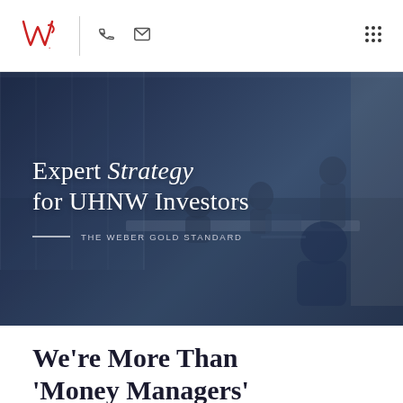W. [logo] | phone icon | email icon | grid menu icon
[Figure (photo): Dark blue toned photo of business professionals sitting around a conference table in a modern glass-walled office, with a blue overlay]
Expert Strategy for UHNW Investors
THE WEBER GOLD STANDARD
We're More Than 'Money Managers'